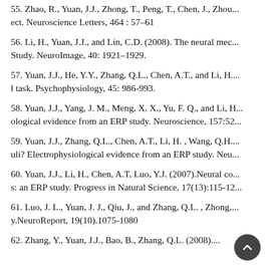55. Zhao, R., Yuan, J.J., Zhong, T., Peng, T., Chen, J., Zhou... ect. Neuroscience Letters, 464 : 57–61
56. Li, H., Yuan, J.J., and Lin, C.D. (2008). The neural mec... Study. NeuroImage, 40: 1921–1929.
57. Yuan, J.J., He, Y.Y., Zhang, Q.L., Chen, A.T., and Li, H.... l task. Psychophysiology, 45: 986-993.
58. Yuan, J.J., Yang, J. M., Meng, X. X., Yu, F. Q., and Li, H... ological evidence from an ERP study. Neuroscience, 157:52...
59. Yuan, J.J., Zhang, Q.L., Chen, A.T., Li, H. , Wang, Q.H.... uli? Electrophysiological evidence from an ERP study. Neu...
60. Yuan, J.J., Li, H., Chen, A.T, Luo, Y.J. (2007).Neural co... s: an ERP study. Progress in Natural Science, 17(13):115-12...
61. Luo, J. L., Yuan, J. J., Qiu, J., and Zhang, Q.L. , Zhong,... y.NeuroReport, 19(10).1075-1080
62. Zhang, Y., Yuan, J.J., Bao, B., Zhang, Q.L. (2008)....